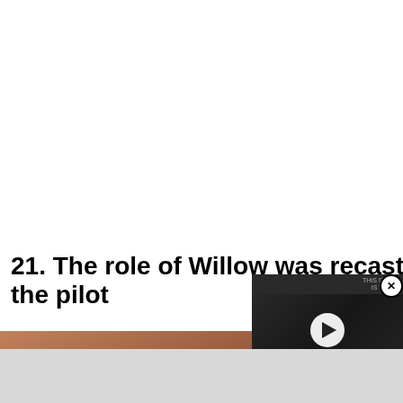21. The role of Willow was recast after the pilot
[Figure (photo): Photo of a person with red/auburn hair, partially visible at bottom of page]
[Figure (screenshot): Video player overlay with play button showing 'THIS WEEK IN HISTORY' text on dark background]